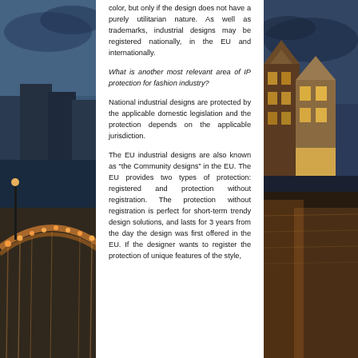[Figure (photo): Background photo of Amsterdam canal at dusk with illuminated bridge on the left side]
[Figure (photo): Background photo of Amsterdam canal buildings with illuminated facades on the right side]
color, but only if the design does not have a purely utilitarian nature. As well as trademarks, industrial designs may be registered nationally, in the EU and internationally.
What is another most relevant area of IP protection for fashion industry?
National industrial designs are protected by the applicable domestic legislation and the protection depends on the applicable jurisdiction.
The EU industrial designs are also known as “the Community designs” in the EU. The EU provides two types of protection: registered and protection without registration. The protection without registration is perfect for short-term trendy design solutions, and lasts for 3 years from the day the design was first offered in the EU. If the designer wants to register the protection of unique features of the style,